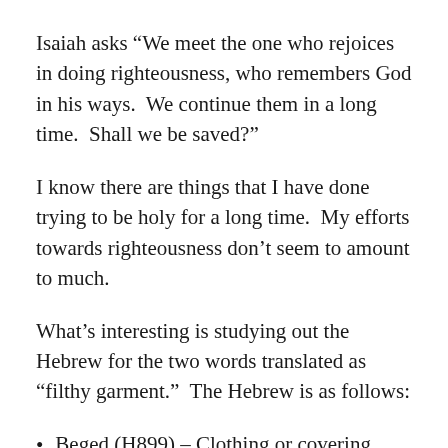Isaiah asks “We meet the one who rejoices in doing righteousness, who remembers God in his ways.  We continue them in a long time.  Shall we be saved?”
I know there are things that I have done trying to be holy for a long time.  My efforts towards righteousness don’t seem to amount to much.
What’s interesting is studying out the Hebrew for the two words translated as “filthy garment.”  The Hebrew is as follows:
Beged (H899) – Clothing or covering
Ed (H5707) – While this is translated as filthy, it also means “witness.” Pl...